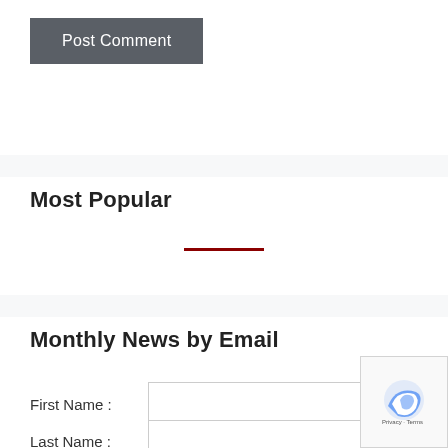Post Comment
Most Popular
[Figure (other): Red horizontal divider line]
Monthly News by Email
First Name :
Last Name :